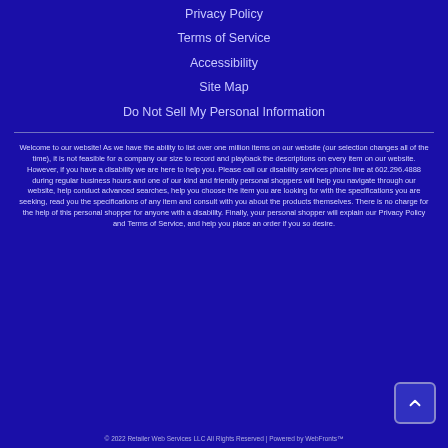Privacy Policy
Terms of Service
Accessibility
Site Map
Do Not Sell My Personal Information
Welcome to our website! As we have the ability to list over one million items on our website (our selection changes all of the time), it is not feasible for a company our size to record and playback the descriptions on every item on our website. However, if you have a disability we are here to help you. Please call our disability services phone line at 602.296.4888 during regular business hours and one of our kind and friendly personal shoppers will help you navigate through our website, help conduct advanced searches, help you choose the item you are looking for with the specifications you are seeking, read you the specifications of any item and consult with you about the products themselves. There is no charge for the help of this personal shopper for anyone with a disability. Finally, your personal shopper will explain our Privacy Policy and Terms of Service, and help you place an order if you so desire.
© 2022 Retailer Web Services LLC All Rights Reserved | Powered by WebFronts™